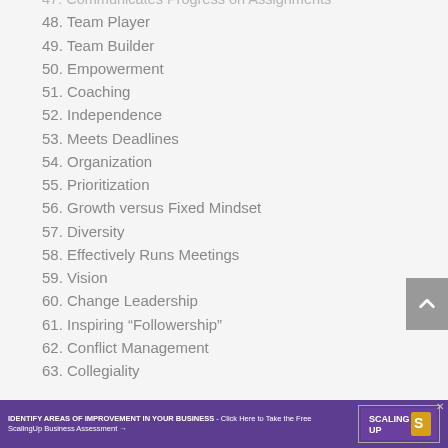47. Communicates Progress on Assignments
48. Team Player
49. Team Builder
50. Empowerment
51. Coaching
52. Independence
53. Meets Deadlines
54. Organization
55. Prioritization
56. Growth versus Fixed Mindset
57. Diversity
58. Effectively Runs Meetings
59. Vision
60. Change Leadership
61. Inspiring “Followership”
62. Conflict Management
63. Collegiality
IDENTIFY AREAS OF IMPROVEMENT IN YOUR BUSINESS - Click Here to Take the Free ScalingUp Business Assessment →